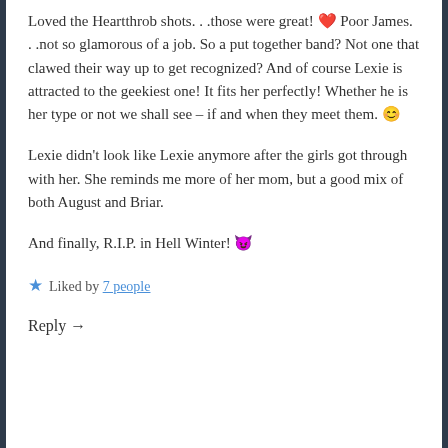Loved the Heartthrob shots. . .those were great! ❤️ Poor James. . .not so glamorous of a job. So a put together band? Not one that clawed their way up to get recognized? And of course Lexie is attracted to the geekiest one! It fits her perfectly! Whether he is her type or not we shall see – if and when they meet them. 😊
Lexie didn't look like Lexie anymore after the girls got through with her. She reminds me more of her mom, but a good mix of both August and Briar.
And finally, R.I.P. in Hell Winter! 😈
⭐ Liked by 7 people
Reply →